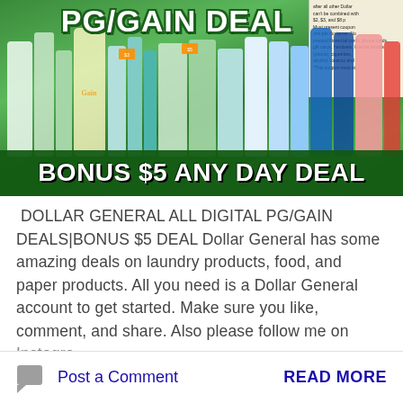[Figure (photo): Photo of Dollar General laundry and cleaning products (Gain, Cascade, etc.) displayed on a store shelf with green background. Top text overlay reads 'PG/GAIN DEAL' in large white bold letters. Bottom green banner reads 'BONUS $5 ANY DAY DEAL' in large white bold letters. A coupon is partially visible in the upper right corner.]
DOLLAR GENERAL ALL DIGITAL PG/GAIN DEALS|BONUS $5 DEAL Dollar General has some amazing deals on laundry products, food, and paper products. All you need is a Dollar General account to get started. Make sure you like, comment, and share. Also please follow me on Instagra ...
Post a Comment
READ MORE